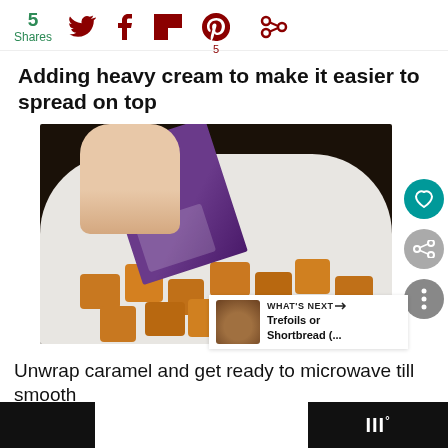5 Shares — social share icons: Twitter, Facebook, Flipboard, Pinterest (5), more
Adding heavy cream to make it easier to spread on top
[Figure (photo): A hand pouring caramel candies from a purple package into a white baking dish, with caramel cubes visible inside the dish.]
WHAT'S NEXT → Trefoils or Shortbread (...
Unwrap caramel and get ready to microwave till smooth